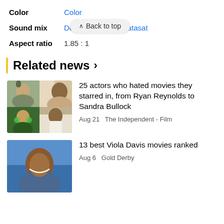Color  Color
Sound mix  Dolby D  Datasat
Aspect ratio  1.85 : 1
[Figure (screenshot): Back to top button overlay]
Related news >
[Figure (photo): Grid of 4 movie/actor photos (Ryan Reynolds, Viola Davis, Green Lantern, etc.)]
25 actors who hated movies they starred in, from Ryan Reynolds to Sandra Bullock
Aug 21  The Independent - Film
[Figure (photo): Photo of Viola Davis smiling]
13 best Viola Davis movies ranked
Aug 6  Gold Derby